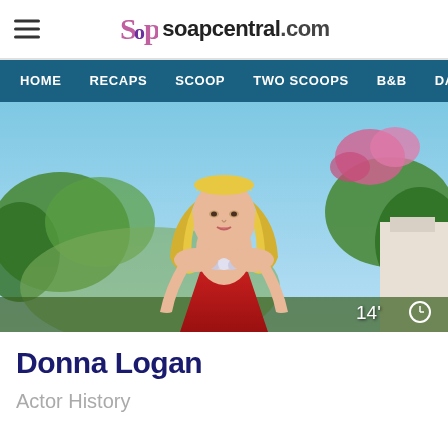soapcentral.com
[Figure (illustration): Navigation bar with HOME, RECAPS, SCOOP, TWO SCOOPS, B&B, DAYS links on dark teal background]
[Figure (photo): Blonde woman in red dress with crystal necklace, outdoor background with trees, pink flowers, blue sky. Timestamp overlay showing 14' and clock icon in bottom right.]
Donna Logan
Actor History